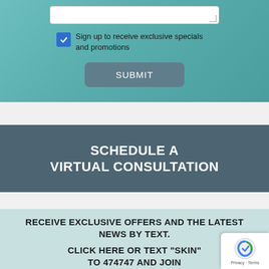[Figure (screenshot): Form section with a text input field, a checked checkbox labeled 'Sign up to receive exclusive specials and promotions', and a SUBMIT button, on a teal background]
Sign up to receive exclusive specials and promotions
SUBMIT
SCHEDULE A VIRTUAL CONSULTATION
RECEIVE EXCLUSIVE OFFERS AND THE LATEST NEWS BY TEXT.
CLICK HERE OR TEXT "SKIN" TO 474747 AND JOIN